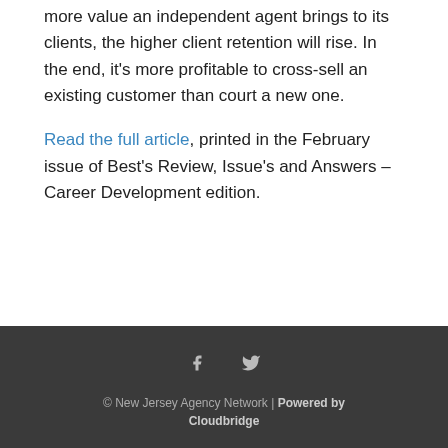more value an independent agent brings to its clients, the higher client retention will rise. In the end, it's more profitable to cross-sell an existing customer than court a new one.
Read the full article, printed in the February issue of Best's Review, Issue's and Answers – Career Development edition.
© New Jersey Agency Network | Powered by Cloudbridge